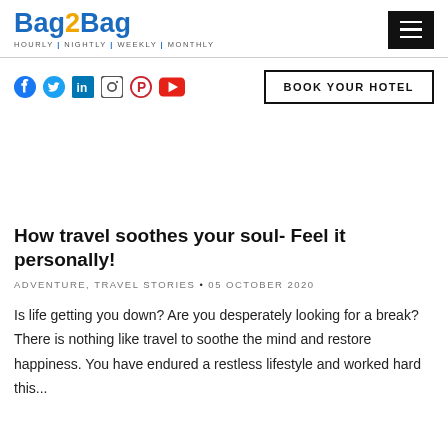Bag2Bag | HOURLY | NIGHTLY | WEEKLY | MONTHLY
[Figure (logo): Bag2Bag logo with tagline HOURLY | NIGHTLY | WEEKLY | MONTHLY]
[Figure (infographic): Hamburger menu icon (three horizontal lines on black background)]
[Figure (infographic): Social media icons: Facebook, Twitter, LinkedIn, Instagram, Pinterest, YouTube]
BOOK YOUR HOTEL
How travel soothes your soul- Feel it personally!
ADVENTURE, TRAVEL STORIES • 05 OCTOBER 2020
Is life getting you down? Are you desperately looking for a break? There is nothing like travel to soothe the mind and restore happiness. You have endured a restless lifestyle and worked hard this...